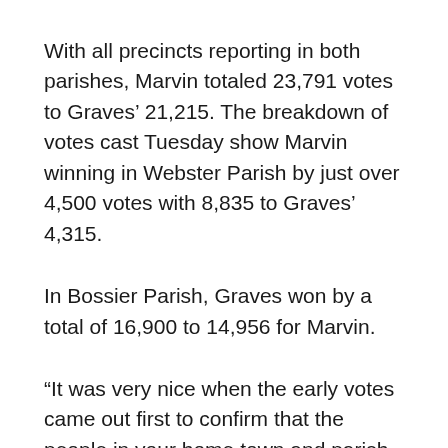With all precincts reporting in both parishes, Marvin totaled 23,791 votes to Graves' 21,215. The breakdown of votes cast Tuesday show Marvin winning in Webster Parish by just over 4,500 votes with 8,835 to Graves' 4,315.
In Bossier Parish, Graves won by a total of 16,900 to 14,956 for Marvin.
“It was very nice when the early votes came out first to confirm that the people in your home town and parish, those who know you best will come out for you,” Marvin said Tuesday evening. “We are so very appreciative to Minden and Webster Parish. And, we’re very happy with our showing in Bossier.”